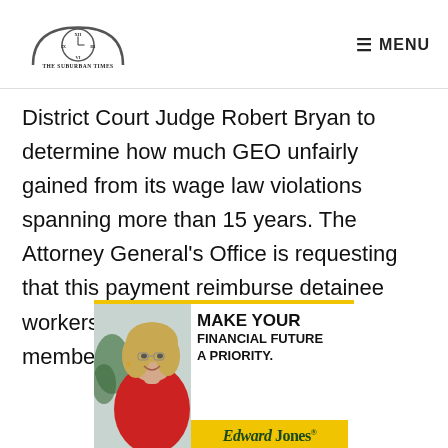THE SUBURBAN TIMES — MENU
District Court Judge Robert Bryan to determine how much GEO unfairly gained from its wage law violations spanning more than 15 years. The Attorney General's Office is requesting that this payment reimburse detainee workers and Tacoma community members.
[Figure (illustration): Edward Jones advertisement showing a smiling woman in a red top with text 'MAKE YOUR FINANCIAL FUTURE A PRIORITY.' and the Edward Jones logo on a yellow background.]